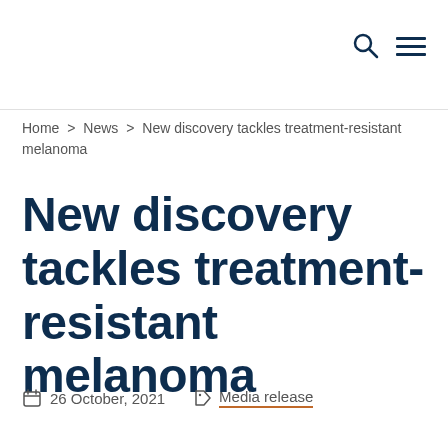Navigation header with search and menu icons
Home > News > New discovery tackles treatment-resistant melanoma
New discovery tackles treatment-resistant melanoma
26 October, 2021   Media release